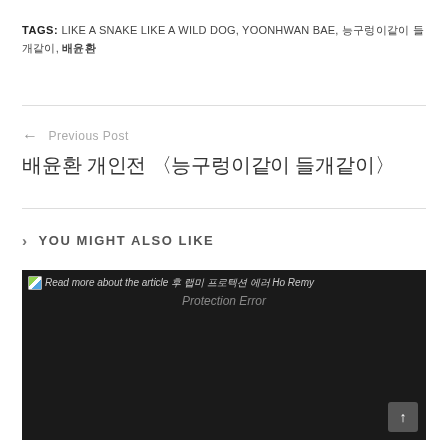TAGS: LIKE A SNAKE LIKE A WILD DOG, YOONHWAN BAE, 능구렁이같이 들개같이, 배윤환
← Previous Post
배윤환 개인전 〈능구렁이같이 들개같이〉
› YOU MIGHT ALSO LIKE
[Figure (screenshot): Dark image block with hotlink protection error text: Read more about the article 후 랩미 프로텍션 에러 Ho Remy Protection Error]